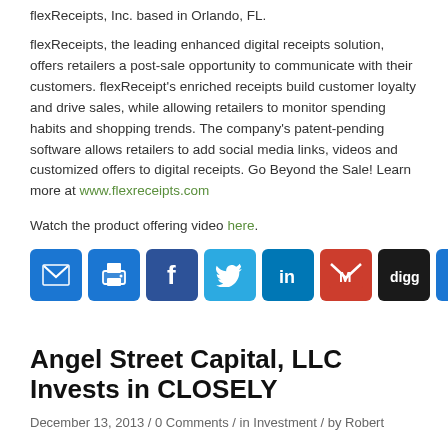flexReceipts, Inc. based in Orlando, FL.
flexReceipts, the leading enhanced digital receipts solution, offers retailers a post-sale opportunity to communicate with their customers. flexReceipt's enriched receipts build customer loyalty and drive sales, while allowing retailers to monitor spending habits and shopping trends. The company's patent-pending software allows retailers to add social media links, videos and customized offers to digital receipts. Go Beyond the Sale! Learn more at www.flexreceipts.com
Watch the product offering video here.
[Figure (other): Social sharing buttons: Email, Print, Facebook, Twitter, LinkedIn, Gmail, Digg, More]
Angel Street Capital, LLC Invests in CLOSELY
December 13, 2013 / 0 Comments / in Investment / by Robert